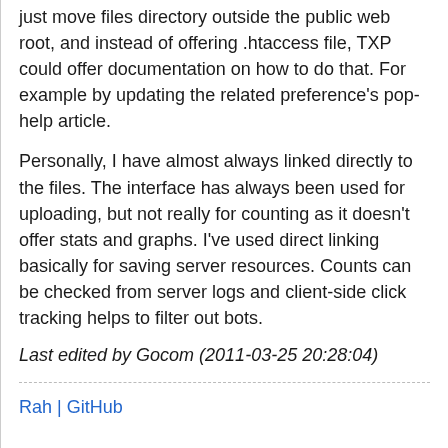just move files directory outside the public web root, and instead of offering .htaccess file, TXP could offer documentation on how to do that. For example by updating the related preference's pop-help article.
Personally, I have almost always linked directly to the files. The interface has always been used for uploading, but not really for counting as it doesn't offer stats and graphs. I've used direct linking basically for saving server resources. Counts can be checked from server logs and client-side click tracking helps to filter out bots.
Last edited by Gocom (2011-03-25 20:28:04)
Rah | GitHub